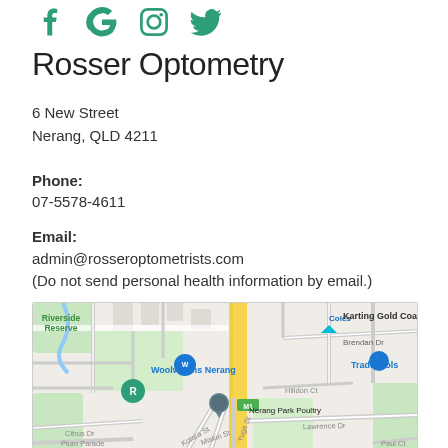[Figure (other): Social media icons: Facebook, Google, Instagram, Twitter in teal/green color]
Rosser Optometry
6 New Street
Nerang, QLD 4211
Phone:
07-5578-4611
Email:
admin@rosseroptometrists.com
(Do not send personal health information by email.)
[Figure (map): Google map showing the area around Nerang, QLD 4211, with landmarks including Riverside Reserve, Woolworths Nerang, Nerang Park Poultry, Karting Gold Coast, TradeTools, and roads including Kotara St, Miskin St, Lawrence Dr, Citrus Dr, Plum Parade, Paul Ct, Hilldon Ct, Brendan Dr. M1 motorway visible in yellow.]